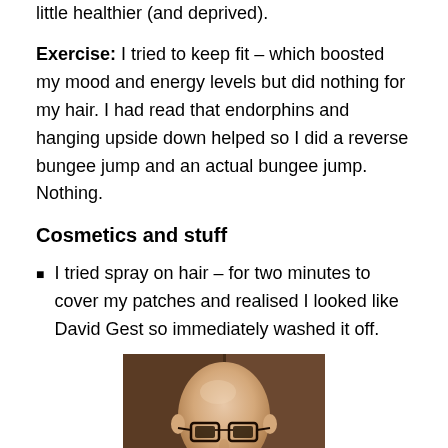little healthier (and deprived).
Exercise: I tried to keep fit – which boosted my mood and energy levels but did nothing for my hair. I had read that endorphins and hanging upside down helped so I did a reverse bungee jump and an actual bungee jump. Nothing.
Cosmetics and stuff
I tried spray on hair – for two minutes to cover my patches and realised I looked like David Gest so immediately washed it off.
[Figure (photo): A bald man wearing glasses and a grey shirt, photographed indoors against a dark background.]